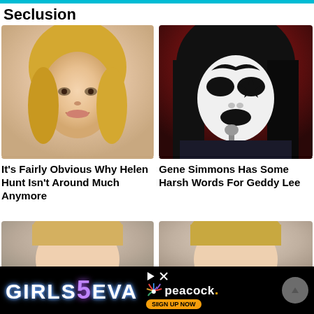Seclusion
[Figure (photo): Blonde woman smiling, headshot against light background]
[Figure (photo): Person in KISS-style black and white face paint performing on stage with red background]
It's Fairly Obvious Why Helen Hunt Isn't Around Much Anymore
Gene Simmons Has Some Harsh Words For Geddy Lee
[Figure (photo): Partial view of blonde woman, cropped at top]
[Figure (photo): Partial view of blonde woman, cropped at top]
[Figure (advertisement): Girls5Eva ad banner on Peacock - dark background with colored text and Peacock logo with Sign Up Now button]